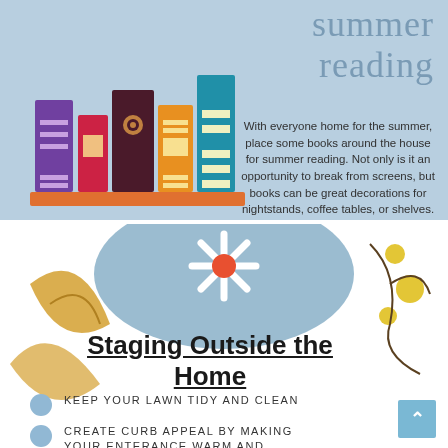summer reading
[Figure (illustration): Colorful books standing on an orange shelf, including purple, red, dark brown, orange/yellow, and teal books]
With everyone home for the summer, place some books around the house for summer reading. Not only is it an opportunity to break from screens, but books can be great decorations for nightstands, coffee tables, or shelves.
[Figure (illustration): Decorative bottom section with a large blue-gray oval, a white daisy flower with orange center, golden yellow leaf shapes, and small yellow dots with curling vine lines]
Staging Outside the Home
KEEP YOUR LAWN TIDY AND CLEAN
CREATE CURB APPEAL BY MAKING YOUR ENTERANCE WARM AND